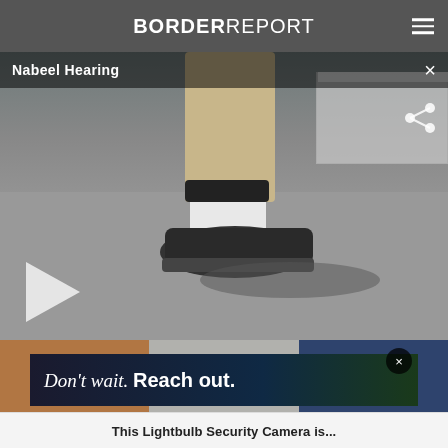BORDER REPORT
[Figure (screenshot): Video player showing a person's foot with ankle monitor wearing a dark sneaker, walking on pavement. Video title bar reads 'Nabeel Hearing' with a close X button. A play button is visible at lower left and a share icon at upper right.]
[Figure (screenshot): Advertisement banner: shows blurred content with three colored panels (brown, gray, dark blue) and overlay ad with text 'Don't wait. Reach out.' with a close X button. Background shows person in dark setting.]
This Lightbulb Security Camera is...